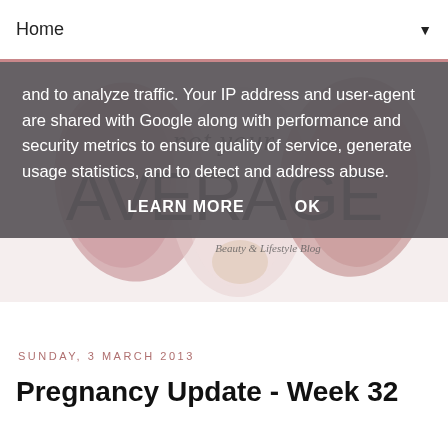Home ▼
and to analyze traffic. Your IP address and user-agent are shared with Google along with performance and security metrics to ensure quality of service, generate usage statistics, and to detect and address abuse.
LEARN MORE   OK
[Figure (illustration): Blog header image with watercolor brush strokes in mauve/rose and cream tones. Large serif text reads 'not your AVERAGE' with script subtext 'Beauty & Lifestyle Blog']
SUNDAY, 3 MARCH 2013
Pregnancy Update - Week 32